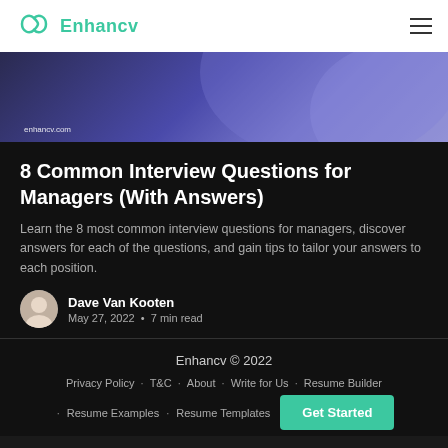Enhancv
[Figure (illustration): Purple/violet gradient hero banner with enhancv.com URL text]
8 Common Interview Questions for Managers (With Answers)
Learn the 8 most common interview questions for managers, discover answers for each of the questions, and gain tips to tailor your answers to each position.
Dave Van Kooten
May 27, 2022 · 7 min read
Enhancv © 2022
Privacy Policy · T&C · About · Write for Us · Resume Builder · Resume Examples · Resume Templates
Get Started